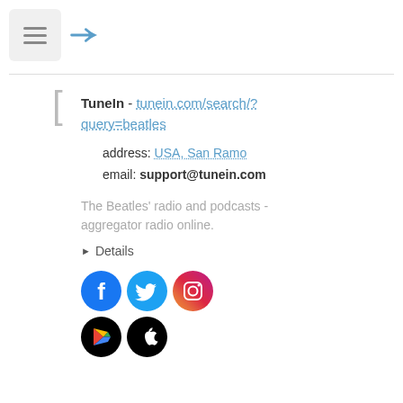[Figure (screenshot): Hamburger menu button (three horizontal lines) in a light gray rounded rectangle, followed by a blue rightward arrow icon]
Tunein - tunein.com/search/?query=beatles
address: USA, San Ramo
email: support@tunein.com
The Beatles' radio and podcasts - aggregator radio online.
▶ Details
[Figure (illustration): Social media icons: Facebook (blue circle with white F), Twitter (cyan circle with white bird), Instagram (pink/orange gradient circle with camera outline)]
[Figure (illustration): App store icons: Google Play (black circle with colorful triangle play logo), Apple App Store (black circle with white Apple logo)]